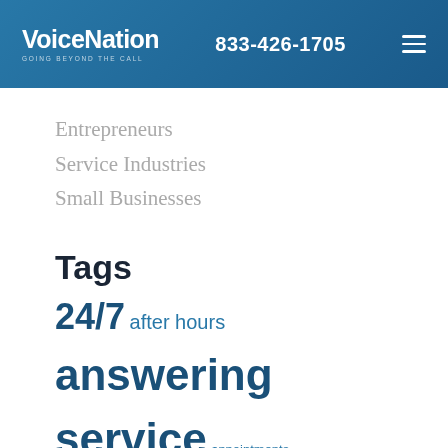VoiceNation GOING BEYOND THE CALL | 833-426-1705
Entrepreneurs
Service Industries
Small Businesses
Tags
24/7 after hours answering service appointments automation bilingual operators business growth call answering call forwarding chatbots coronavirus COVID-19